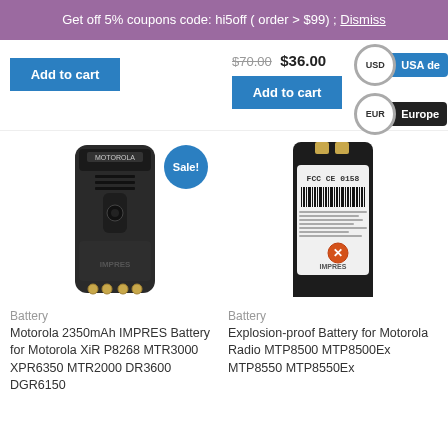Get off 5% coupons code: hi5off ( order > $99) ; Dismiss
$70.00 $36.00
Add to cart
Add to cart
USD USA de...
EUR Europe...
[Figure (photo): Motorola IMPRES battery front view, black, with gold contacts at bottom and belt clip]
[Figure (photo): Explosion-proof Motorola IMPRES battery back view showing label with barcode and CE certification markings]
Sale!
Battery
Motorola 2350mAh IMPRES Battery for Motorola XiR P8268 MTR3000 XPR6350 MTR2000 DR3600 DGR6150
Battery
Explosion-proof Battery for Motorola Radio MTP8500 MTP8500Ex MTP8550 MTP8550Ex